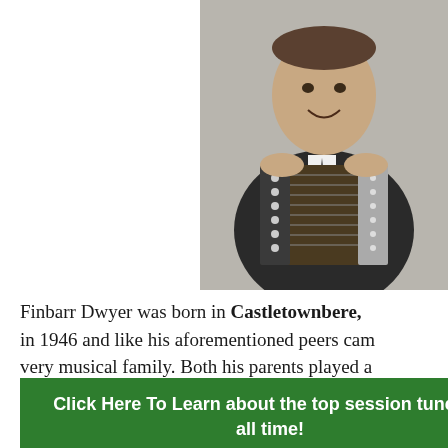[Figure (photo): Black and white photograph of a young man smiling, holding a large accordion/button accordion instrument, wearing a dark suit with a tie.]
Finbarr Dwyer was born in Castletownbere, in 1946 and like his aforementioned peers came from a very musical family. Both his parents played a … her and
Click Here To Learn about the top session tunes of all time!